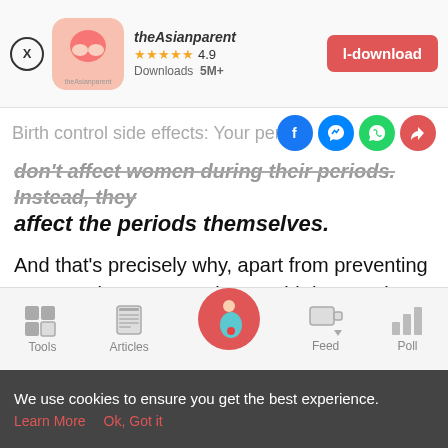[Figure (screenshot): theAsianparent app download banner with app icon, star rating 4.9, Downloads 5M+, and a red download button]
Birth control side effects: Your periods
don't affect women during their periods. Instead, they affect the periods themselves.
And that's precisely why, apart from preventing pregnancies, women also use birth control to regulate their periods. Birth control gives women the luxury of scheduling or even skipping periods for whatever reason.
[Figure (screenshot): Bottom navigation bar with Tools, Articles, Home (pink circle with pregnant woman icon), Feed, and Poll icons]
We use cookies to ensure you get the best experience. Learn More  Ok, Got it